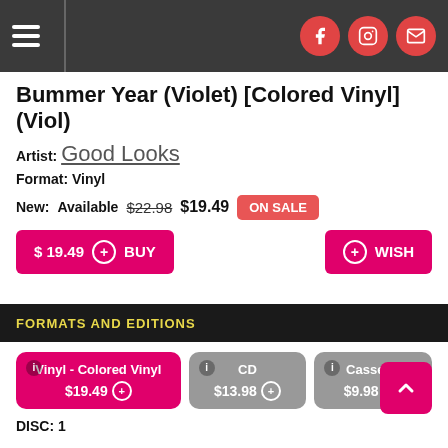Navigation header with hamburger menu and social icons (Facebook, Instagram, Email)
Bummer Year (Violet) [Colored Vinyl] (Viol)
Artist: Good Looks
Format: Vinyl
New: Available $22.98 $19.49 ON SALE
$ 19.49 + BUY
+ WISH
FORMATS AND EDITIONS
Vinyl - Colored Vinyl $19.49
CD $13.98
Cassette $9.98
DISC: 1